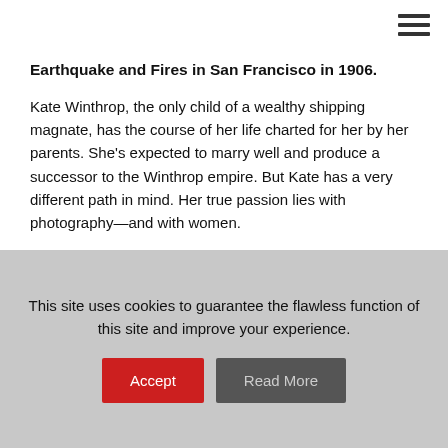Earthquake and Fires in San Francisco in 1906.
Kate Winthrop, the only child of a wealthy shipping magnate, has the course of her life charted for her by her parents. She's expected to marry well and produce a successor to the Winthrop empire. But Kate has a very different path in mind. Her true passion lies with photography—and with women.
Alone in the city after losing her brother, Sicilian immigrant Giuliana Russo starts working for the Winthrops as a maid. Despite their different social status, Kate and Giuliana become
This site uses cookies to guarantee the flawless function of this site and improve your experience.